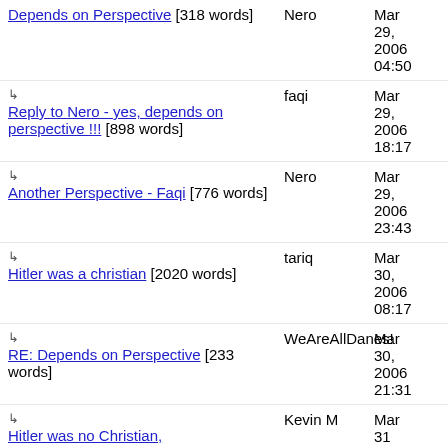Depends on Perspective [318 words] — Nero — Mar 29, 2006 04:50
↳ Reply to Nero - yes, depends on perspective !!! [898 words] — faqi — Mar 29, 2006 18:17
↳ Another Perspective - Faqi [776 words] — Nero — Mar 29, 2006 23:43
↳ Hitler was a christian [2020 words] — tariq — Mar 30, 2006 08:17
↳ RE: Depends on Perspective [233 words] — WeAreAllDanes! — Mar 30, 2006 21:31
↳ Hitler was no Christian, — Kevin M — Mar 31